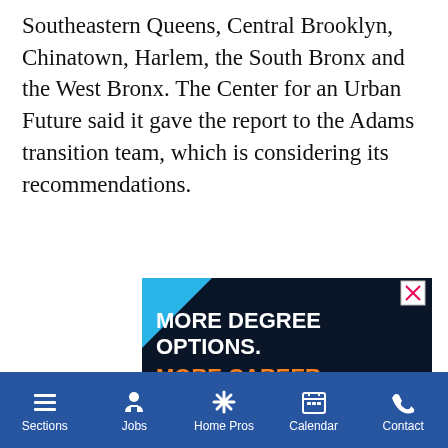Southeastern Queens, Central Brooklyn, Chinatown, Harlem, the South Bronx and the West Bronx. The Center for an Urban Future said it gave the report to the Adams transition team, which is considering its recommendations.
[Figure (screenshot): Advertisement for Touro University New York School of Career & Applied Studies. Dark navy background with blue corner accent. White bold text: MORE DEGREE OPTIONS. Orange bold text: MORE CAREER OPPORTUNITIES. Touro University logo with circle TU emblem, TOURO UNIVERSITY in blue, NEW YORK SCHOOL OF CAREER & APPLIED SCIENCES in white. Orange LEARN MORE button at bottom.]
Sections  Jobs  Home Pros  Calendar  Contact